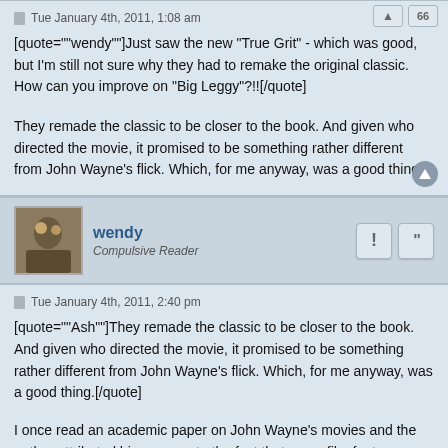Tue January 4th, 2011, 1:08 am
[quote=""wendy""]Just saw the new "True Grit" - which was good, but I'm still not sure why they had to remake the original classic. How can you improve on "Big Leggy"?!![/quote]
They remade the classic to be closer to the book. And given who directed the movie, it promised to be something rather different from John Wayne's flick. Which, for me anyway, was a good thing.
wendy
Compulsive Reader
Tue January 4th, 2011, 2:40 pm
[quote=""Ash""]They remade the classic to be closer to the book. And given who directed the movie, it promised to be something rather different from John Wayne's flick. Which, for me anyway, was a good thing.[/quote]
I once read an academic paper on John Wayne's movies and the author attributed his success to the fact that every film features a sassy girl who